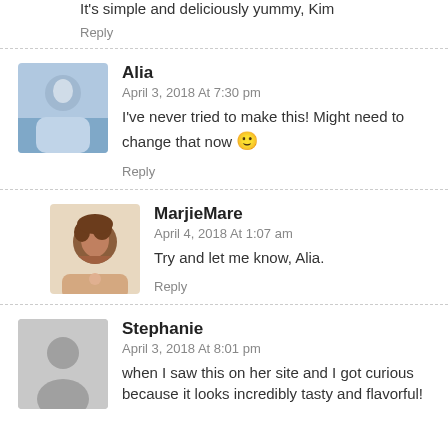It's simple and deliciously yummy, Kim
Reply
Alia
April 3, 2018 At 7:30 pm
I've never tried to make this! Might need to change that now 🙂
Reply
MarjieMare
April 4, 2018 At 1:07 am
Try and let me know, Alia.
Reply
Stephanie
April 3, 2018 At 8:01 pm
when I saw this on her site and I got curious because it looks incredibly tasty and flavorful!